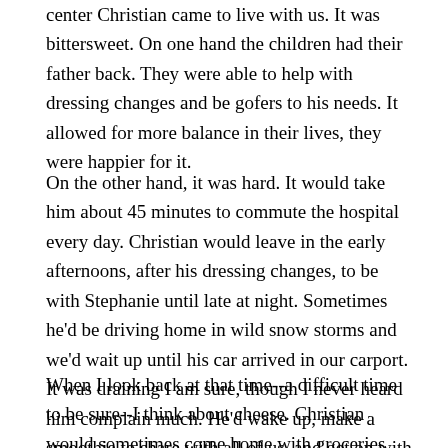center Christian came to live with us. It was bittersweet. On one hand the children had their father back. They were able to help with dressing changes and be gofers to his needs. It allowed for more balance in their lives, they were happier for it.
On the other hand, it was hard. It would take him about 45 minutes to commute the hospital every day. Christian would leave in the early afternoons, after his dressing changes, to be with Stephanie until late at night. Sometimes he'd be driving home in wild snow storms and we'd wait up until his car arrived in our carport. It was draining I am sure, though I never heard him complain much. He'd wake up, make a smoothie to share with all of us, and get on with his day.
When I look back at that time--a difficult time to be sure--I think about cheese. Christian would sometimes come home with groceries, and in the morning I'd find my fridge stocked with good food. Food that he rarely...